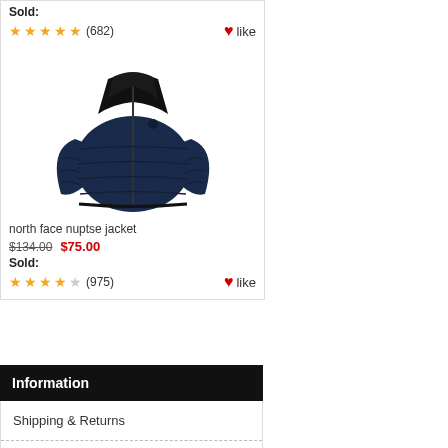Sold:
★★★★★ (682) ♥like
[Figure (photo): North Face Nuptse jacket product photo — navy/black puffer jacket]
north face nuptse jacket
$134.00  $75.00
Sold:
★★★★☆ (975) ♥like
Information
Shipping & Returns
Privacy Notice
F.A.Q